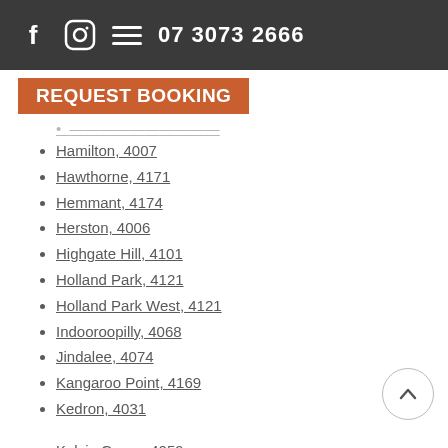f [instagram] ≡  07 3073 2666
REQUEST BOOKING
Hamilton, 4007
Hawthorne, 4171
Hemmant, 4174
Herston, 4006
Highgate Hill, 4101
Holland Park, 4121
Holland Park West, 4121
Indooroopilly, 4068
Jindalee, 4074
Kangaroo Point, 4169
Kedron, 4031
Kelvin Grove, 4059
Lutwyche, 4030
Milton, 4064
Moorooka, 4105
Morningside, 4170
Mount Gravatt, 4122
Mount Gravatt East, 4122
Murarrie, 4172
New Farm, 4005
Newmarket, 4051
Newstead, 4006